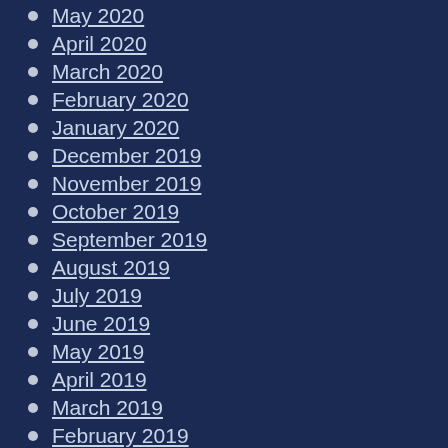May 2020
April 2020
March 2020
February 2020
January 2020
December 2019
November 2019
October 2019
September 2019
August 2019
July 2019
June 2019
May 2019
April 2019
March 2019
February 2019
January 2019
December 2018
November 2018